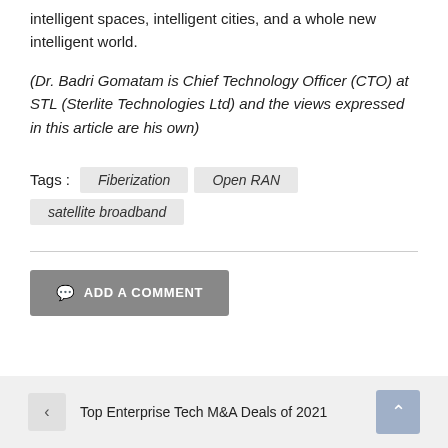intelligent spaces, intelligent cities, and a whole new intelligent world.
(Dr. Badri Gomatam is Chief Technology Officer (CTO) at STL (Sterlite Technologies Ltd) and the views expressed in this article are his own)
Tags :   Fiberization   Open RAN   satellite broadband
ADD A COMMENT
< Top Enterprise Tech M&A Deals of 2021